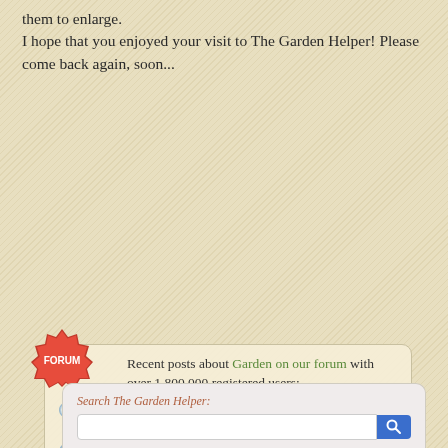them to enlarge.
I hope that you enjoyed your visit to The Garden Helper! Please come back again, soon...
[Figure (infographic): Forum section with FORUM badge, recent posts listing, and search box. Shows forum posts about gardening topics with reply counts.]
Any of you like INDOOR gardening? (sorta LONG with pictures!)  (4 replies)
Greenhouse  (28 replies)
Riding mower, lift or ramp  (14 replies)
Raspberry Failure  (6 replies)
Will my wisteria plant ever grow?  (22 replies)
Is it safe to store seed (to sow later) w/ food grade Diatomaceous earth (to keep insects from ruining it) . . . ?  (2 replies)